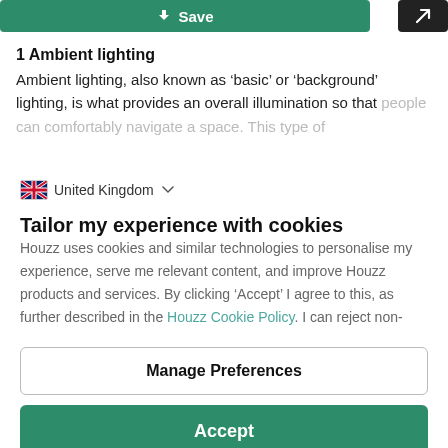Save
1 Ambient lighting
Ambient lighting, also known as ‘basic’ or ‘background’ lighting, is what provides an overall illumination so that people can comfortably navigate a space. This type of
United Kingdom
Tailor my experience with cookies
Houzz uses cookies and similar technologies to personalise my experience, serve me relevant content, and improve Houzz products and services. By clicking ‘Accept’ I agree to this, as further described in the Houzz Cookie Policy. I can reject non-
Manage Preferences
Accept